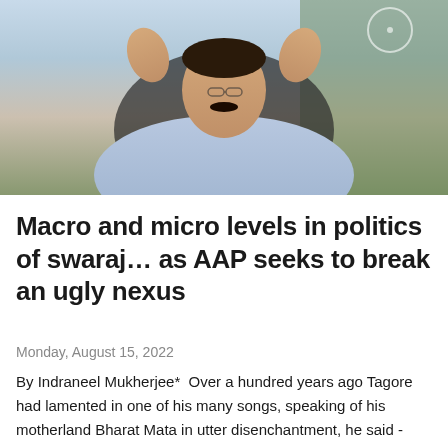[Figure (photo): A man in a light blue shirt seated in a leather chair with hands raised, with an Indian flag emblem visible in the background]
Macro and micro levels in politics of swaraj… as AAP seeks to break an ugly nexus
Monday, August 15, 2022
By Indraneel Mukherjee*  Over a hundred years ago Tagore had lamented in one of his many songs, speaking of his motherland Bharat Mata in utter disenchantment, he said - "Kaino cheye aacho go Maa? Ayeraa chaahenaa tomaaray chaahe naa re …